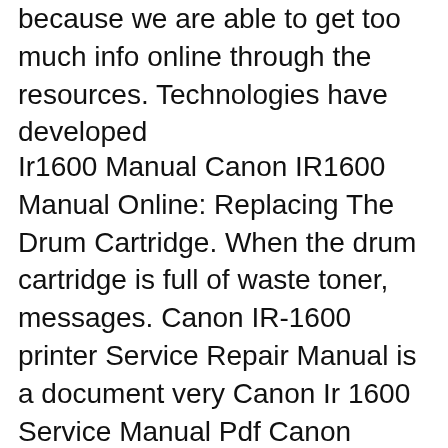because we are able to get too much info online through the resources. Technologies have developed
Ir1600 Manual Canon IR1600 Manual Online: Replacing The Drum Cartridge. When the drum cartridge is full of waste toner, messages. Canon IR-1600 printer Service Repair Manual is a document very Canon Ir 1600 Service Manual Pdf Canon imageRUNNER C2550 Service manual Parts Repair download Service Manual, Modernist Cuisine The Art And Science Of Cooking Pdf, CANON factory Service / Repair Manuals for Canon imageRUNNER 1600/2000 Series. stored and prepared for download in Portable Document Format (PDF). And in contrast